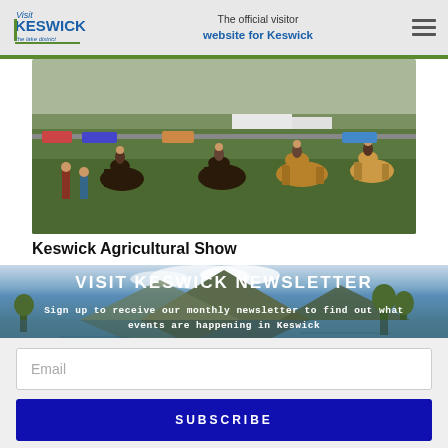Visit Keswick – The official visitor website for Keswick
[Figure (photo): Horses and riders at the Keswick Agricultural Show on a green field with tents and cars in background]
Keswick Agricultural Show
VISIT KESWICK NEWSLETTER
Sign up to receive our monthly newsletter to find out what events are happening in Keswick
Email
SUBSCRIBE